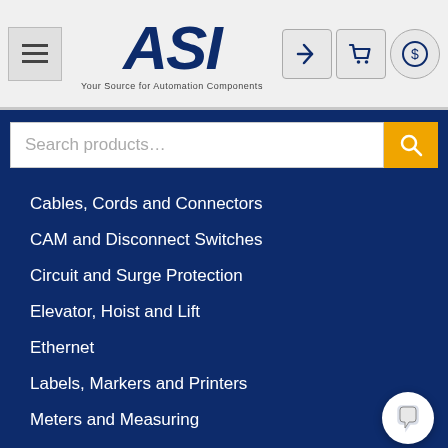ASI - Your Source for Automation Components
Search products…
Cables, Cords and Connectors
CAM and Disconnect Switches
Circuit and Surge Protection
Elevator, Hoist and Lift
Ethernet
Labels, Markers and Printers
Meters and Measuring
Motor Controls
Power Distribution
Power Supplies
Push Button and Indicators
Relays, Sensors and Signaling
Terminal Blocks